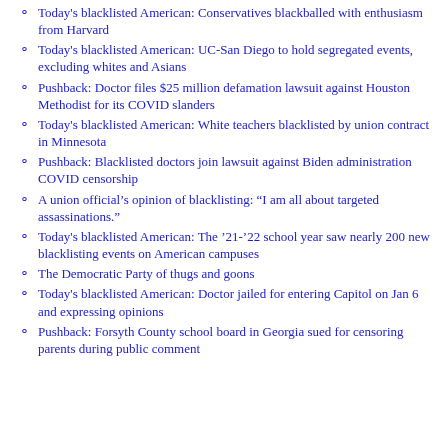Today's blacklisted American: Conservatives blackballed with enthusiasm from Harvard
Today's blacklisted American: UC-San Diego to hold segregated events, excluding whites and Asians
Pushback: Doctor files $25 million defamation lawsuit against Houston Methodist for its COVID slanders
Today's blacklisted American: White teachers blacklisted by union contract in Minnesota
Pushback: Blacklisted doctors join lawsuit against Biden administration COVID censorship
A union official's opinion of blacklisting: “I am all about targeted assassinations.”
Today's blacklisted American: The ’21-’22 school year saw nearly 200 new blacklisting events on American campuses
The Democratic Party of thugs and goons
Today's blacklisted American: Doctor jailed for entering Capitol on Jan 6 and expressing opinions
Pushback: Forsyth County school board in Georgia sued for censoring parents during public comment